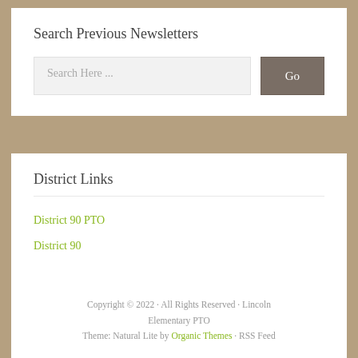Search Previous Newsletters
Search Here ...
District Links
District 90 PTO
District 90
Copyright © 2022 · All Rights Reserved · Lincoln Elementary PTO
Theme: Natural Lite by Organic Themes · RSS Feed